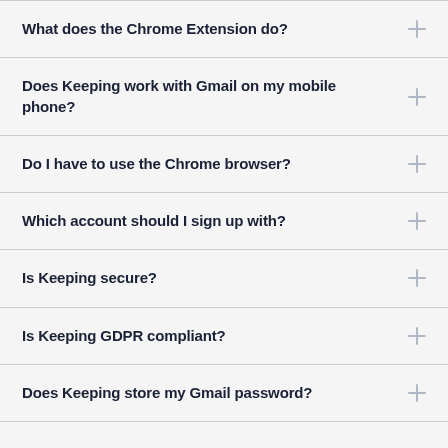What does the Chrome Extension do?
Does Keeping work with Gmail on my mobile phone?
Do I have to use the Chrome browser?
Which account should I sign up with?
Is Keeping secure?
Is Keeping GDPR compliant?
Does Keeping store my Gmail password?